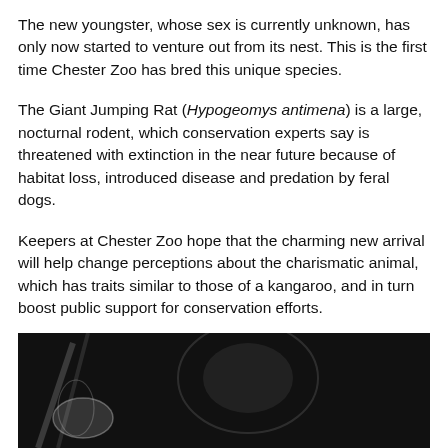The new youngster, whose sex is currently unknown, has only now started to venture out from its nest. This is the first time Chester Zoo has bred this unique species.
The Giant Jumping Rat (Hypogeomys antimena) is a large, nocturnal rodent, which conservation experts say is threatened with extinction in the near future because of habitat loss, introduced disease and predation by feral dogs.
Keepers at Chester Zoo hope that the charming new arrival will help change perceptions about the charismatic animal, which has traits similar to those of a kangaroo, and in turn boost public support for conservation efforts.
[Figure (photo): Black and white photo of an animal (likely the Giant Jumping Rat) in a dark setting, partially visible at the bottom of the page.]